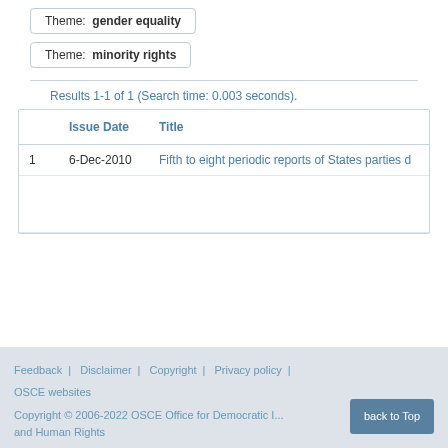Theme: gender equality
Theme: minority rights
Results 1-1 of 1 (Search time: 0.003 seconds).
|  | Issue Date | Title |
| --- | --- | --- |
| 1 | 6-Dec-2010 | Fifth to eight periodic reports of States parties d |
Feedback | Disclaimer | Copyright | Privacy policy | OSCE websites
Copyright © 2006-2022 OSCE Office for Democratic I... and Human Rights